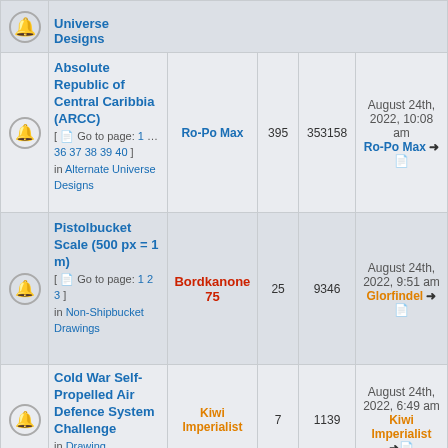|  | Topic | Author | Replies | Views | Last post |
| --- | --- | --- | --- | --- | --- |
| [bell] | Alternate Universe Designs (partial row) |  |  |  |  |
| [bell] | Absolute Republic of Central Caribbia (ARCC) [ Go to page: 1 … 36 37 38 39 40 ] in Alternate Universe Designs | Ro-Po Max | 395 | 353158 | August 24th, 2022, 10:08 am Ro-Po Max |
| [bell] | Pistolbucket Scale (500 px = 1 m) [ Go to page: 1 2 3 ] in Non-Shipbucket Drawings | Bordkanone 75 | 25 | 9346 | August 24th, 2022, 9:51 am Glorfindel |
| [bell] | Cold War Self-Propelled Air Defence System Challenge in Drawing Challenges | Kiwi Imperialist | 7 | 1139 | August 24th, 2022, 6:49 am Kiwi Imperialist |